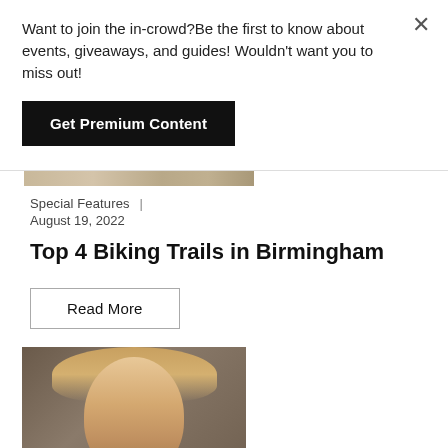Want to join the in-crowd?Be the first to know about events, giveaways, and guides! Wouldn't want you to miss out!
Get Premium Content
Special Features  |  August 19, 2022
Top 4 Biking Trails in Birmingham
Read More
[Figure (photo): Portrait photo of a woman with blonde hair and bangs, looking at camera with a neutral expression, dark background]